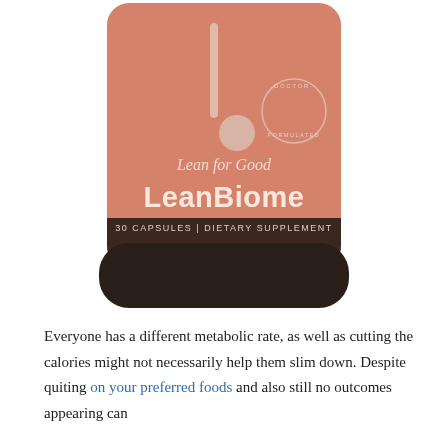[Figure (photo): A salmon/terracotta colored supplement bottle labeled 'Lean for Good LeanBiome - 30 Capsules Dietary Supplement' with a vertical line and dot logo design and 'Doctor Formulated' badge on the right side. The bottle has a dark brown/black base.]
Everyone has a different metabolic rate, as well as cutting the calories might not necessarily help them slim down. Despite quiting on your preferred foods and also still no outcomes appearing can